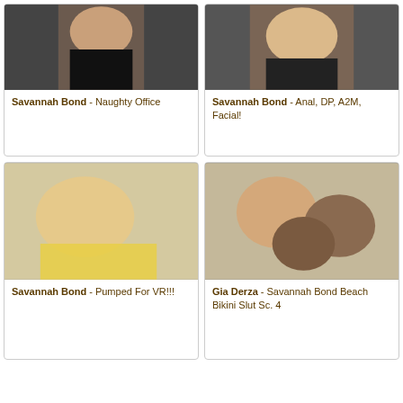[Figure (photo): Savannah Bond - Naughty Office thumbnail]
Savannah Bond - Naughty Office
[Figure (photo): Savannah Bond - Anal, DP, A2M, Facial! thumbnail]
Savannah Bond - Anal, DP, A2M, Facial!
[Figure (photo): Savannah Bond - Pumped For VR!!! thumbnail]
Savannah Bond - Pumped For VR!!!
[Figure (photo): Gia Derza - Savannah Bond Beach Bikini Slut Sc. 4 thumbnail]
Gia Derza - Savannah Bond Beach Bikini Slut Sc. 4